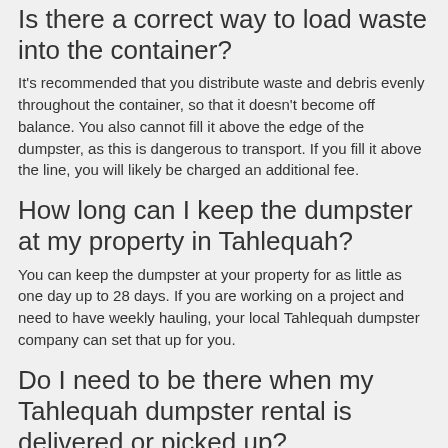Is there a correct way to load waste into the container?
It's recommended that you distribute waste and debris evenly throughout the container, so that it doesn't become off balance. You also cannot fill it above the edge of the dumpster, as this is dangerous to transport. If you fill it above the line, you will likely be charged an additional fee.
How long can I keep the dumpster at my property in Tahlequah?
You can keep the dumpster at your property for as little as one day up to 28 days. If you are working on a project and need to have weekly hauling, your local Tahlequah dumpster company can set that up for you.
Do I need to be there when my Tahlequah dumpster rental is delivered or picked up?
No, if you give good directions about where it needs to be dropped off, then you do not need to be present when it's dropped off or picked up.
Can you pick up the roll off dumpster in